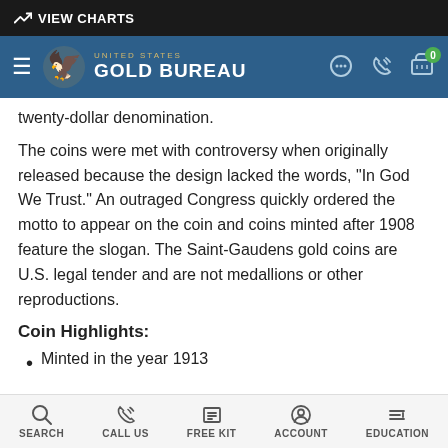VIEW CHARTS
[Figure (logo): United States Gold Bureau logo with eagle emblem, navigation icons (chat, phone, cart with 0 badge)]
twenty-dollar denomination.
The coins were met with controversy when originally released because the design lacked the words, "In God We Trust." An outraged Congress quickly ordered the motto to appear on the coin and coins minted after 1908 feature the slogan. The Saint-Gaudens gold coins are U.S. legal tender and are not medallions or other reproductions.
Coin Highlights:
Minted in the year 1913
SEARCH  CALL US  FREE KIT  ACCOUNT  EDUCATION